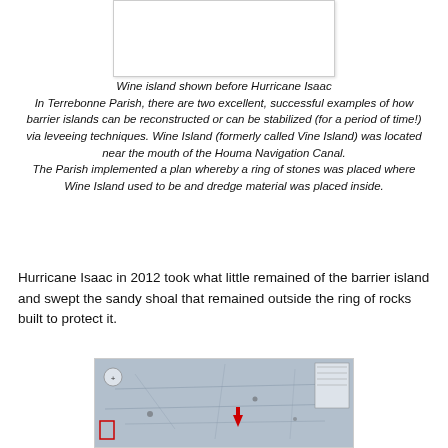[Figure (photo): White/blank image box shown at top of page - Wine island shown before Hurricane Isaac]
Wine island shown before Hurricane Isaac
In Terrebonne Parish, there are two excellent, successful examples of how barrier islands can be reconstructed or can be stabilized (for a period of time!) via leveeing techniques. Wine Island (formerly called Vine Island) was located near the mouth of the Houma Navigation Canal.
The Parish implemented a plan whereby a ring of stones was placed where Wine Island used to be and dredge material was placed inside.
Hurricane Isaac in 2012 took what little remained of the barrier island and swept the sandy shoal that remained outside the ring of rocks built to protect it.
[Figure (map): Nautical/topographic map showing the area near Wine Island and Houma Navigation Canal, with a red arrow marker pointing to a location]